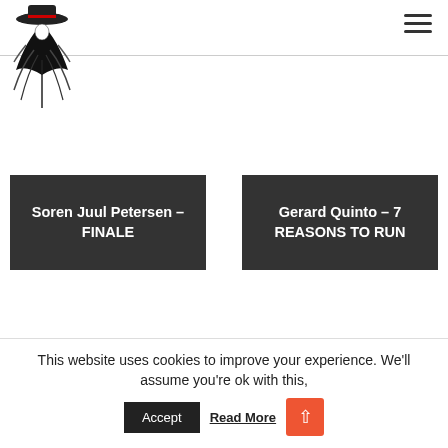[Figure (logo): Black and white illustration of a magician figure wearing a top hat with a red detail, styled as a logo]
Soren Juul Petersen – FINALE
Gerard Quinto – 7 REASONS TO RUN
This website uses cookies to improve your experience. We'll assume you're ok with this, Accept Read More